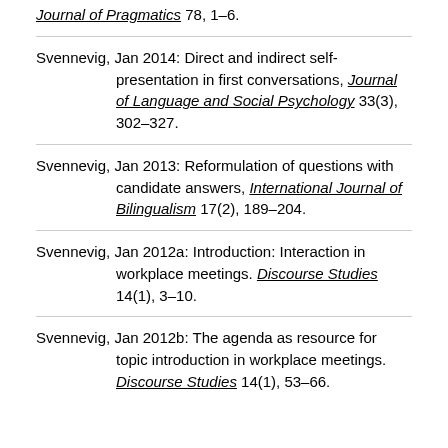Journal of Pragmatics 78, 1–6.
Svennevig, Jan 2014: Direct and indirect self-presentation in first conversations, Journal of Language and Social Psychology 33(3), 302–327.
Svennevig, Jan 2013: Reformulation of questions with candidate answers, International Journal of Bilingualism 17(2), 189–204.
Svennevig, Jan 2012a: Introduction: Interaction in workplace meetings. Discourse Studies 14(1), 3–10.
Svennevig, Jan 2012b: The agenda as resource for topic introduction in workplace meetings. Discourse Studies 14(1), 53–66.